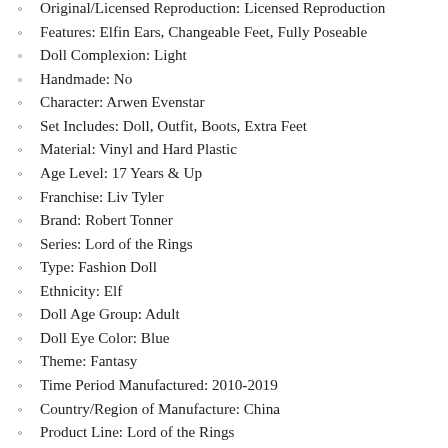Original/Licensed Reproduction: Licensed Reproduction
Features: Elfin Ears, Changeable Feet, Fully Poseable
Doll Complexion: Light
Handmade: No
Character: Arwen Evenstar
Set Includes: Doll, Outfit, Boots, Extra Feet
Material: Vinyl and Hard Plastic
Age Level: 17 Years & Up
Franchise: Liv Tyler
Brand: Robert Tonner
Series: Lord of the Rings
Type: Fashion Doll
Ethnicity: Elf
Doll Age Group: Adult
Doll Eye Color: Blue
Theme: Fantasy
Time Period Manufactured: 2010-2019
Country/Region of Manufacture: China
Product Line: Lord of the Rings